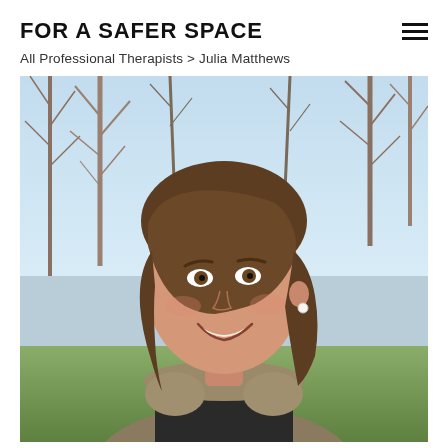FOR A SAFER SPACE
All Professional Therapists > Julia Matthews
[Figure (photo): Outdoor portrait photo of Julia Matthews, a smiling woman with brown hair and bangs, wearing a dark knit top and fur-trimmed coat, photographed outdoors with bare winter trees and blue sky in the background.]